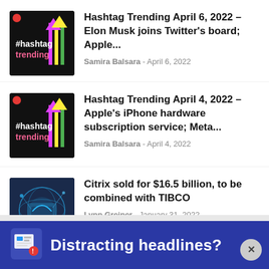Hashtag Trending April 6, 2022 – Elon Musk joins Twitter's board; Apple... Samira Balsara - April 6, 2022
Hashtag Trending April 4, 2022 – Apple's iPhone hardware subscription service; Meta... Samira Balsara - April 4, 2022
Citrix sold for $16.5 billion, to be combined with TIBCO Lynn Greiner - January 31, 2022
[Figure (other): Banner advertisement: dark blue background with a monitor/news icon on the left and bold white text reading 'Distracting headlines?' with a circular close (X) button on the right.]